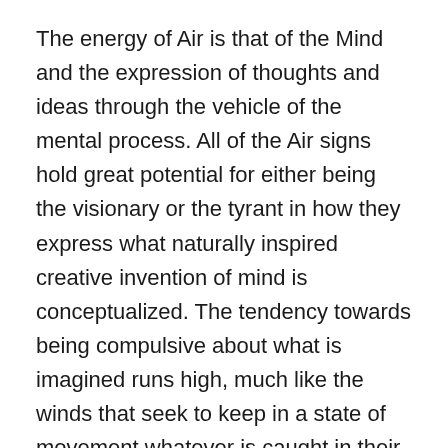The energy of Air is that of the Mind and the expression of thoughts and ideas through the vehicle of the mental process. All of the Air signs hold great potential for either being the visionary or the tyrant in how they express what naturally inspired creative invention of mind is conceptualized. The tendency towards being compulsive about what is imagined runs high, much like the winds that seek to keep in a state of movement whatever is caught in their grasp. In the case of Gemini, we saw this compulsion was one of sharing and communication.
In the airiness of Libra, the compulsion is one of final refinement and balanced workings. And, as we will see with Aquarius, the compulsion is one of demanding that all keep pace as the future is revealed by inventive mind. Libra brings this mental energy to a place of synthesis, eloquence and expression in a way that engages the